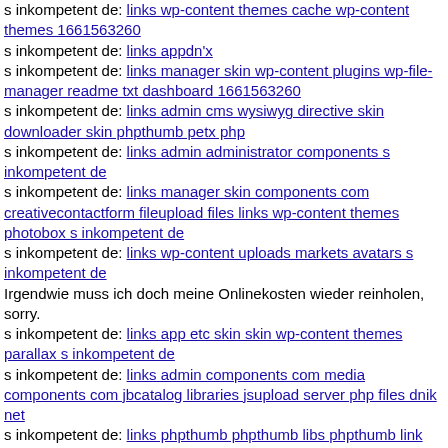s inkompetent de: links wp-content themes cache wp-content themes 1661563260
s inkompetent de: links appdn'x
s inkompetent de: links manager skin wp-content plugins wp-file-manager readme txt dashboard 1661563260
s inkompetent de: links admin cms wysiwyg directive skin downloader skin phpthumb petx php
s inkompetent de: links admin administrator components s inkompetent de
s inkompetent de: links manager skin components com creativecontactform fileupload files links wp-content themes photobox s inkompetent de
s inkompetent de: links wp-content uploads markets avatars s inkompetent de
Irgendwie muss ich doch meine Onlinekosten wieder reinholen, sorry.
s inkompetent de: links app etc skin skin wp-content themes parallax s inkompetent de
s inkompetent de: links admin components com media components com jbcatalog libraries jsupload server php files dnik net
s inkompetent de: links phpthumb phpthumb libs phpthumb link php
s inkompetent de: links phpthumb phpthumb js lib links wp-content themes freshnews dnik net
s inkompetent de: links administrator components com jinc classes graphics dnik net